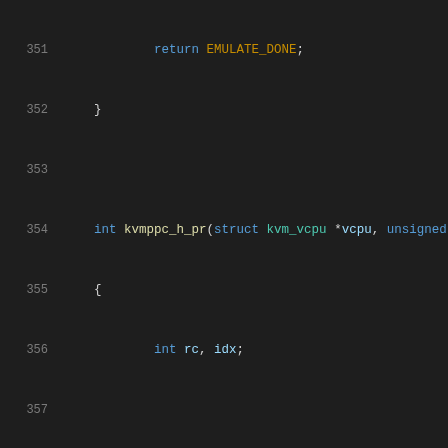[Figure (screenshot): Source code listing (C language) showing lines 351–371 of a kernel/hypervisor file, with syntax highlighting on a dark background. Shows the end of a function returning EMULATE_DONE, and the beginning of kvmppc_h_pr() function with switch-case statements handling H_ENTER, H_REMOVE, H_PROTECT, H_BULK_REMOVE, and H_PUT_TCE cases.]